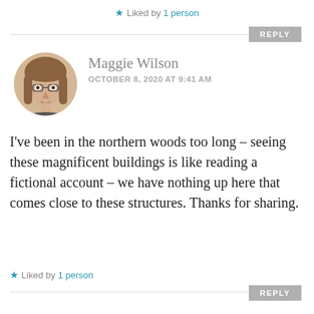★ Liked by 1 person
REPLY
[Figure (photo): Circular avatar photo of Maggie Wilson, a woman with brown hair and glasses]
Maggie Wilson
OCTOBER 8, 2020 AT 9:41 AM
I've been in the northern woods too long – seeing these magnificent buildings is like reading a fictional account – we have nothing up here that comes close to these structures. Thanks for sharing.
★ Liked by 1 person
REPLY